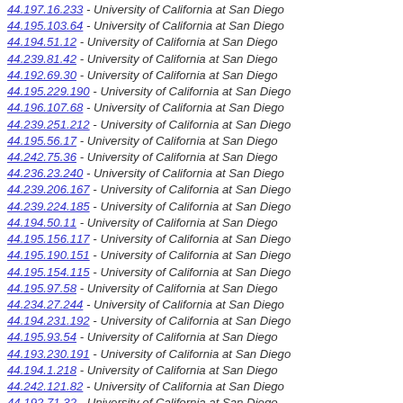44.197.16.233 - University of California at San Diego
44.195.103.64 - University of California at San Diego
44.194.51.12 - University of California at San Diego
44.239.81.42 - University of California at San Diego
44.192.69.30 - University of California at San Diego
44.195.229.190 - University of California at San Diego
44.196.107.68 - University of California at San Diego
44.239.251.212 - University of California at San Diego
44.195.56.17 - University of California at San Diego
44.242.75.36 - University of California at San Diego
44.236.23.240 - University of California at San Diego
44.239.206.167 - University of California at San Diego
44.239.224.185 - University of California at San Diego
44.194.50.11 - University of California at San Diego
44.195.156.117 - University of California at San Diego
44.195.190.151 - University of California at San Diego
44.195.154.115 - University of California at San Diego
44.195.97.58 - University of California at San Diego
44.234.27.244 - University of California at San Diego
44.194.231.192 - University of California at San Diego
44.195.93.54 - University of California at San Diego
44.193.230.191 - University of California at San Diego
44.194.1.218 - University of California at San Diego
44.242.121.82 - University of California at San Diego
44.192.71.32 - University of California at San Diego
44.193.8.225 - University of California at San Diego
44.195.40.1 - University of California at San Diego
44.235.151.112 - University of California at San Diego
44.195.31.248 - University of California at San Diego
44.194.235.196 - University of California at San Diego